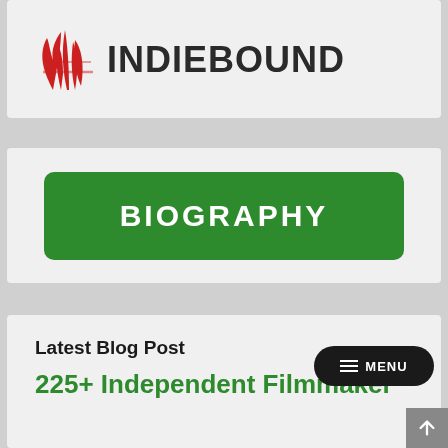[Figure (logo): IndieBound logo with red leaf/plant icon and bold dark text]
[Figure (infographic): Green rounded rectangle button with white bold text reading BIOGRAPHY]
Latest Blog Post
225+ Independent Filmmaker